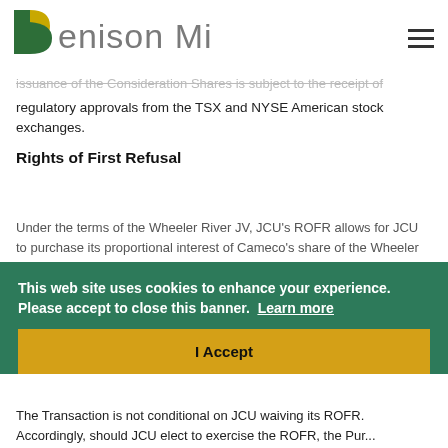Denison Mines
issuance of the Consideration Shares is subject to the receipt of regulatory approvals from the TSX and NYSE American stock exchanges.
Rights of First Refusal
Under the terms of the Wheeler River JV, JCU's ROFR allows for JCU to purchase its proportional interest of Cameco's share of the Wheeler River JV alongside of Denison. Based on Denison's expected ownership interest of approximately 66%, and JCU's ownership interest of 16%, JCU would have the right to purchase approximately 13.16% of Cameco's expected 24% interest in the Wheeler River JV.
This web site uses cookies to enhance your experience. Please accept to close this banner.  Learn more
I Accept
The Transaction is not conditional on JCU waiving its ROFR. Accordingly, should JCU elect to exercise the ROFR, the Pur...